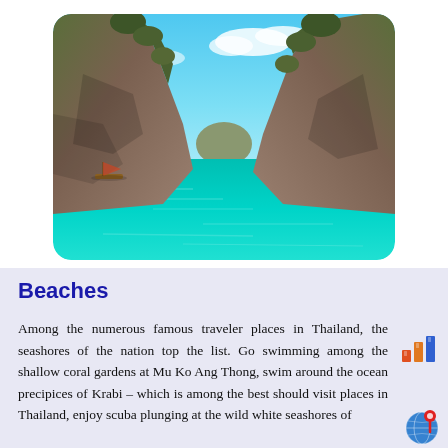[Figure (photo): Scenic view of turquoise water between two large rocky limestone cliffs in Thailand, with a small boat visible on the left side and blue sky with white clouds above.]
Beaches
Among the numerous famous traveler places in Thailand, the seashores of the nation top the list. Go swimming among the shallow coral gardens at Mu Ko Ang Thong, swim around the ocean precipices of Krabi – which is among the best should visit places in Thailand, enjoy scuba plunging at the wild white seashores of
[Figure (illustration): Bar chart icon with colored bars in red, orange, and blue]
[Figure (illustration): Globe icon with location pin marker]